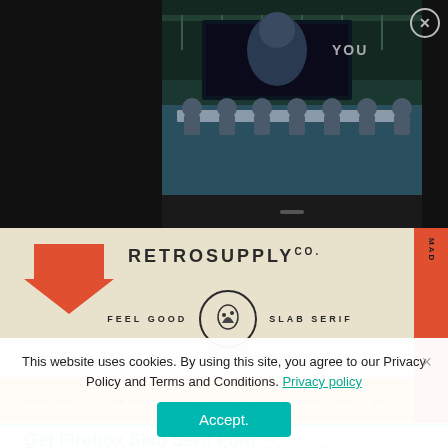[Figure (screenshot): Screenshot of a video player showing a TV panel/press conference event with panelists seated on stage, a large display screen behind them showing 'YOU', set against a dark background. A close (X) button appears in the top right.]
[Figure (photo): RetroSupply Co. font advertisement banner with a red downward arrow, company name 'RETROSUPPLY CO.', tagline 'FEEL GOOD SLAB SERIF' with a circular horse emblem, and a yellow bar reading 'SLAB SERIF · PURE HAPPINESS · CREATED IN GEORGIA · DON'T EAT'. Red vertical stripe on right with 'MAD' text.]
Firebox is a bold and eye-catching slab serif font designed by Scott Fuller and distributed by the amazing folks at Retro Supply Co. Firebox has that slight western and vintage feel, making it perfect for that rustic outdoorsy...
This website uses cookies. By using this site, you agree to our Privacy Policy and Terms and Conditions. Privacy policy
Accept.
Get Firebox Slab Serif Font →